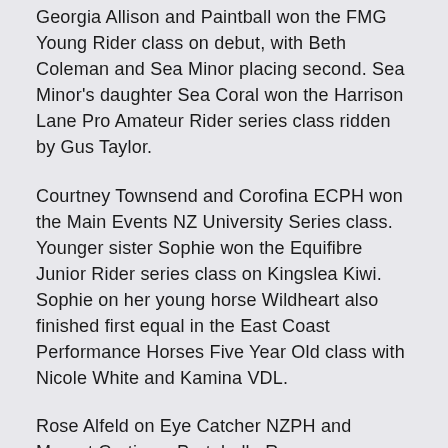Georgia Allison and Paintball won the FMG Young Rider class on debut, with Beth Coleman and Sea Minor placing second. Sea Minor's daughter Sea Coral won the Harrison Lane Pro Amateur Rider series class ridden by Gus Taylor.
Courtney Townsend and Corofina ECPH won the Main Events NZ University Series class. Younger sister Sophie won the Equifibre Junior Rider series class on Kingslea Kiwi. Sophie on her young horse Wildheart also finished first equal in the East Coast Performance Horses Five Year Old class with Nicole White and Kamina VDL.
Rose Alfeld on Eye Catcher NZPH and Margot Curtis on Portobello Regazza were first equal in the Cheleken & Ultramox Six Year Old Series class. Timothy Richards and Firebird won the Dunstan Horsefeeds Amateur Rider class.